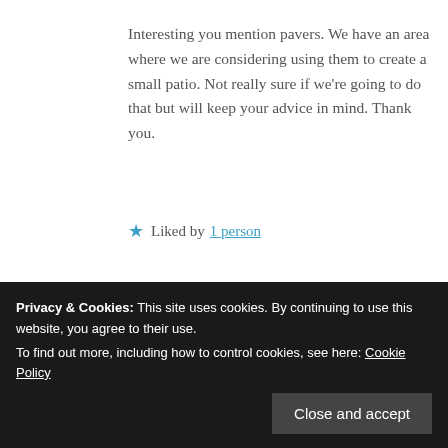Interesting you mention pavers. We have an area where we are considering using them to create a small patio. Not really sure if we're going to do that but will keep your advice in mind. Thank you.
★ Liked by 1 person
[Figure (photo): Circular avatar photo of Kate Crimmins, showing a person with light curly hair]
Kate Crimmins
person. I like things to look nice but I
Privacy & Cookies: This site uses cookies. By continuing to use this website, you agree to their use. To find out more, including how to control cookies, see here: Cookie Policy
Close and accept